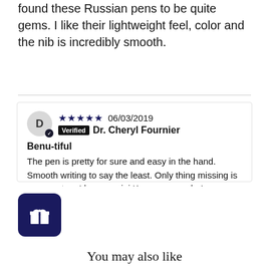found these Russian pens to be quite gems. I like their lightweight feel, color and the nib is incredibly smooth.
★★★★★ 06/03/2019
Verified Dr. Cheryl Fournier
Benu-tiful
The pen is pretty for sure and easy in the hand. Smooth writing to say the least. Only thing missing is a converter...I have a mini Kaweco on order!
[Figure (illustration): Dark navy blue rounded square icon with a gift/present box symbol in white]
You may also like